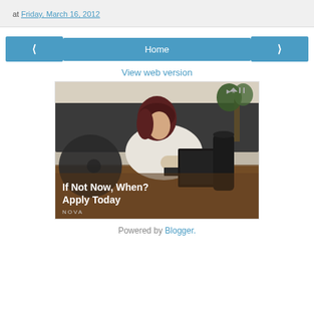at Friday, March 16, 2012
< Home >
View web version
[Figure (photo): Advertisement showing a woman working on a laptop at a cafe table with text 'If Not Now, When? Apply Today' and brand name NOVA]
Powered by Blogger.